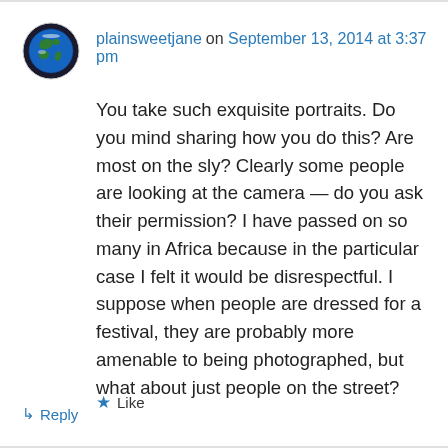[Figure (photo): Round avatar showing Earth globe photo, dark background]
plainsweetjane on September 13, 2014 at 3:37 pm
You take such exquisite portraits. Do you mind sharing how you do this? Are most on the sly? Clearly some people are looking at the camera — do you ask their permission? I have passed on so many in Africa because in the particular case I felt it would be disrespectful. I suppose when people are dressed for a festival, they are probably more amenable to being photographed, but what about just people on the street?
★ Like
↳ Reply